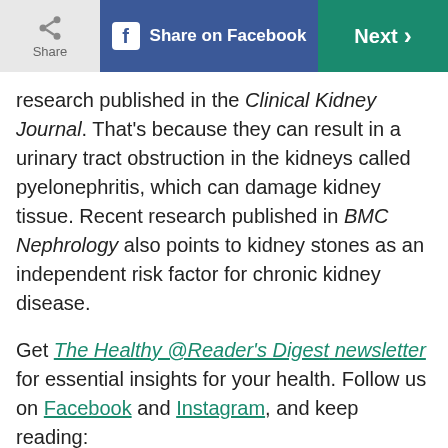Share on Facebook | Next
research published in the Clinical Kidney Journal. That's because they can result in a urinary tract obstruction in the kidneys called pyelonephritis, which can damage kidney tissue. Recent research published in BMC Nephrology also points to kidney stones as an independent risk factor for chronic kidney disease.
Get The Healthy @Reader's Digest newsletter for essential insights for your health. Follow us on Facebook and Instagram, and keep reading:
Research Says This One Goal Will